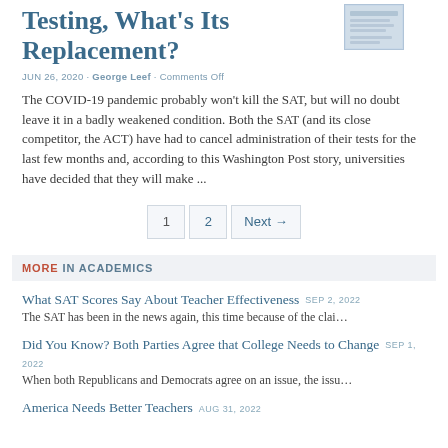Testing, What's Its Replacement?
JUN 26, 2020 · George Leef · Comments Off
The COVID-19 pandemic probably won't kill the SAT, but will no doubt leave it in a badly weakened condition. Both the SAT (and its close competitor, the ACT) have had to cancel administration of their tests for the last few months and, according to this Washington Post story, universities have decided that they will make ...
1  2  Next →
MORE IN ACADEMICS
What SAT Scores Say About Teacher Effectiveness  SEP 2, 2022
The SAT has been in the news again, this time because of the clai…
Did You Know? Both Parties Agree that College Needs to Change  SEP 1, 2022
When both Republicans and Democrats agree on an issue, the issu…
America Needs Better Teachers  AUG 31, 2022